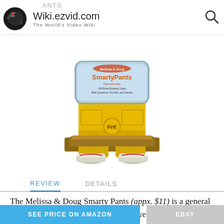Wiki.ezvid.com The World's Video Wiki
[Figure (photo): Melissa & Doug Smarty Pants card game box designed as a pair of yellow pants with sneakers, labeled 'Pre-K']
REVIEW   DETAILS
The Melissa & Doug Smarty Pants (appx. $11) is a general trivia card game that's best when enjoyed with the help of adults or older siblings, as it does involve some reading. It's part of a line that offers versions for kids in school, as well.
SEE PRICE ON AMAZON   EBAY